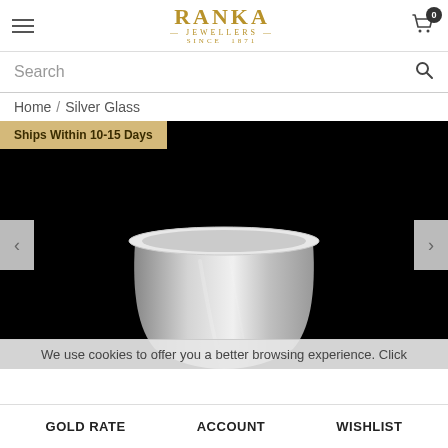RANKA JEWELLERS SINCE 1871
Search
Home / Silver Glass
[Figure (photo): Silver glass/cup on black background with 'Ships Within 10-15 Days' badge and cookie notice overlay]
We use cookies to offer you a better browsing experience. Click
GOLD RATE   ACCOUNT   WISHLIST